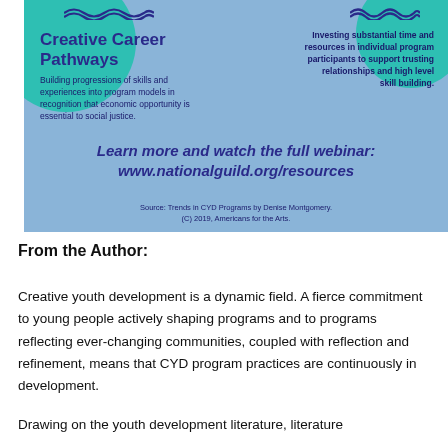[Figure (infographic): Blue infographic banner with teal circles, featuring 'Creative Career Pathways' heading on the left with descriptive text, a right column with text about investing time and resources, a bold CTA 'Learn more and watch the full webinar: www.nationalguild.org/resources', and a source attribution line.]
From the Author:
Creative youth development is a dynamic field. A fierce commitment to young people actively shaping programs and to programs reflecting ever-changing communities, coupled with reflection and refinement, means that CYD program practices are continuously in development.
Drawing on the youth development literature, literature manifestations, the development and development